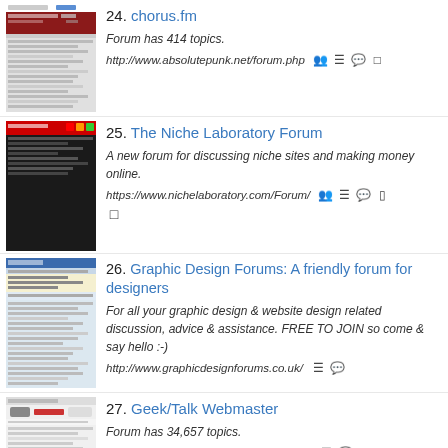[Figure (screenshot): Screenshot thumbnail of chorus.fm forum website]
24. chorus.fm
Forum has 414 topics.
http://www.absolutepunk.net/forum.php
[Figure (screenshot): Screenshot thumbnail of The Niche Laboratory Forum website]
25. The Niche Laboratory Forum
A new forum for discussing niche sites and making money online.
https://www.nichelaboratory.com/Forum/
[Figure (screenshot): Screenshot thumbnail of Graphic Design Forums website]
26. Graphic Design Forums: A friendly forum for designers
For all your graphic design & website design related discussion, advice & assistance. FREE TO JOIN so come & say hello :-)
http://www.graphicdesignforums.co.uk/
[Figure (screenshot): Screenshot thumbnail of Geek/Talk Webmaster forum website]
27. Geek/Talk Webmaster
Forum has 34,657 topics.
https://www.geekvillage.com/forums/